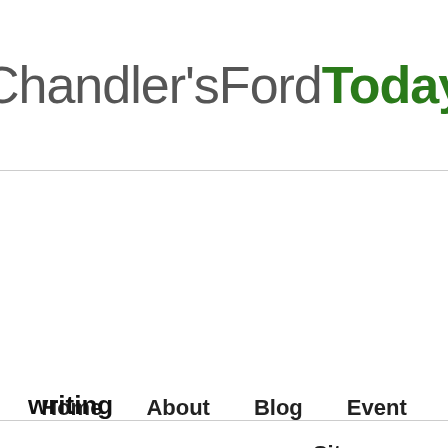Chandler'sFordToday
Home   About   Blog   Event
Community   Contact   Site Policies
Site Archive
writing